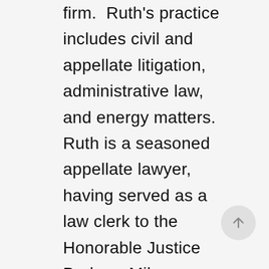firm.  Ruth's practice includes civil and appellate litigation, administrative law, and energy matters.  Ruth is a seasoned appellate lawyer, having served as a law clerk to the Honorable Justice Barbara Milano Keenan of the Supreme Court of Virginia.  She has combined her persuasive legal writing and oral advocacy skills in the successful representation of clients before the Supreme Court of Virginia, the Court of